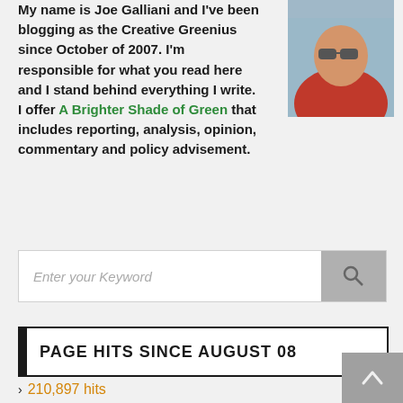My name is Joe Galliani and I've been blogging as the Creative Greenius since October of 2007. I'm responsible for what you read here and I stand behind everything I write. I offer A Brighter Shade of Green that includes reporting, analysis, opinion, commentary and policy advisement.
[Figure (photo): Photo of a man wearing sunglasses and a red jacket, smiling at the camera]
Enter your Keyword
PAGE HITS SINCE AUGUST 08
210,897 hits